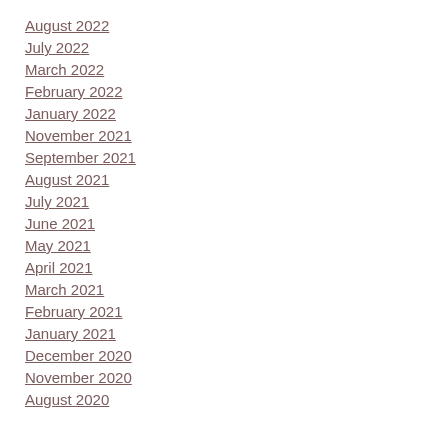August 2022
July 2022
March 2022
February 2022
January 2022
November 2021
September 2021
August 2021
July 2021
June 2021
May 2021
April 2021
March 2021
February 2021
January 2021
December 2020
November 2020
August 2020